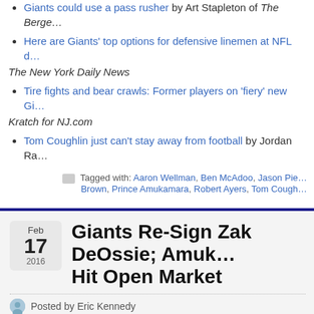Giants could use a pass rusher by Art Stapleton of The Bergen…
Here are Giants' top options for defensive linemen at NFL d… The New York Daily News
Tire fights and bear crawls: Former players on 'fiery' new Gi… Kratch for NJ.com
Tom Coughlin just can't stay away from football by Jordan Ra…
Tagged with: Aaron Wellman, Ben McAdoo, Jason Pie… Brown, Prince Amukamara, Robert Ayers, Tom Cough…
Giants Re-Sign Zak DeOssie; Amuk… Hit Open Market
Posted by Eric Kennedy
[Figure (photo): DirectRelief advertisement with logo and orange bar reading ANYTIME. ANYWHERE.]